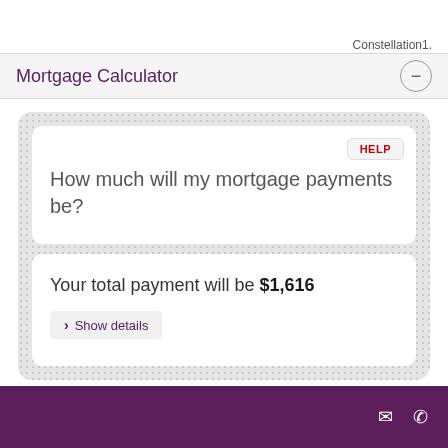Constellation1.
Mortgage Calculator
How much will my mortgage payments be?
Your total payment will be $1,616
> Show details